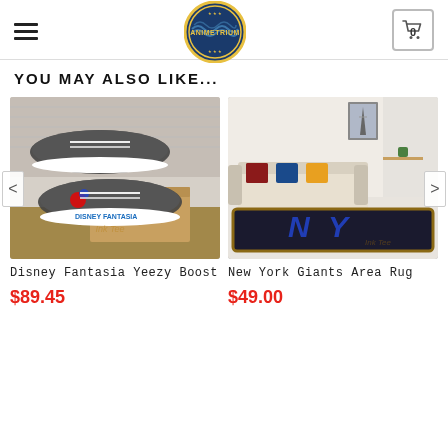AnimeTrium logo, hamburger menu, cart icon with 0
YOU MAY ALSO LIKE...
[Figure (photo): Disney Fantasia Yeezy Boost sneakers — two dark grey Yeezy-style shoes on wooden floor with shoebox, brick wall background, 'Disney Fantasia' text on white sole]
Disney Fantasia Yeezy Boost
$89.45
[Figure (photo): New York Giants Area Rug — dark rug with NY Giants logo in living room with white sofa, Eiffel Tower art, and colorful pillows]
New York Giants Area Rug
$49.00